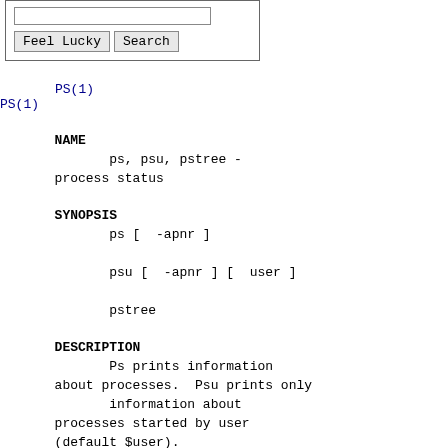[Figure (screenshot): Search box with text input field and two buttons labeled 'Feel Lucky' and 'Search']
PS(1)   PS(1)
NAME
ps, psu, pstree - process status
SYNOPSIS
ps [ -apnr ]
psu [ -apnr ] [ user ]
pstree
DESCRIPTION
Ps prints information about processes.  Psu prints only
       information about processes started by user (default $user).

       For each process reported, the user, process id, user time,
       system time, size,